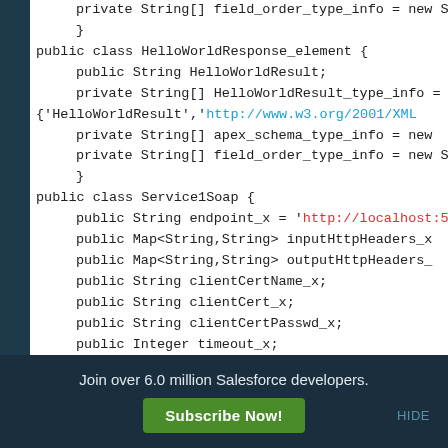[Figure (screenshot): Code editor screenshot showing Java/Apex class definitions including HelloWorldResponse_element and Service1Soap with fields, URL references, and method signatures. Left side has a dark teal sidebar. Code includes blue hyperlink to www.w3.org and red link to http://localhost:53...]
Join over 6.0 million Salesforce developers.
Subscribe Now!
HIDE